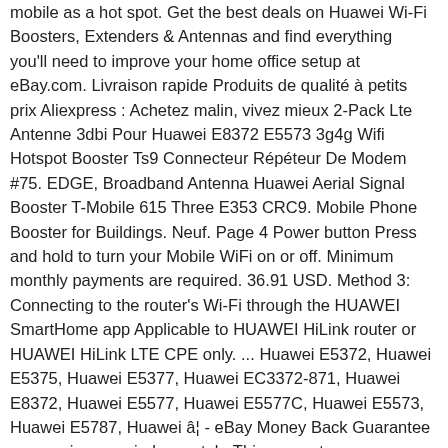mobile as a hot spot. Get the best deals on Huawei Wi-Fi Boosters, Extenders & Antennas and find everything you'll need to improve your home office setup at eBay.com. Livraison rapide Produits de qualité à petits prix Aliexpress : Achetez malin, vivez mieux 2-Pack Lte Antenne 3dbi Pour Huawei E8372 E5573 3g4g Wifi Hotspot Booster Ts9 Connecteur Répéteur De Modem #75. EDGE, Broadband Antenna Huawei Aerial Signal Booster T-Mobile 615 Three E353 CRC9. Mobile Phone Booster for Buildings. Neuf. Page 4 Power button Press and hold to turn your Mobile WiFi on or off. Minimum monthly payments are required. 36.91 USD. Method 3: Connecting to the router's Wi-Fi through the HUAWEI SmartHome app Applicable to HUAWEI HiLink router or HUAWEI HiLink LTE CPE only. ... Huawei E5372, Huawei E5375, Huawei E5377, Huawei EC3372-871, Huawei E8372, Huawei E5577, Huawei E5577C, Huawei E5573, Huawei E5787, Huawei â¦ - eBay Money Back Guarantee - opens in new window or tab, This amount